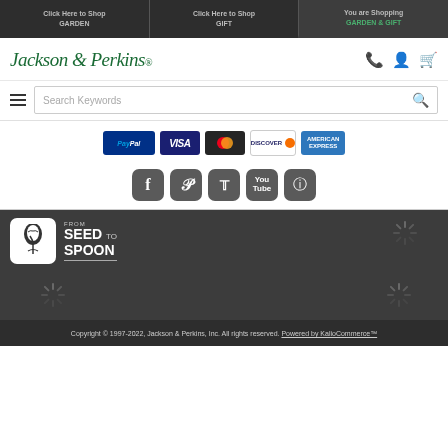Click Here to Shop GARDEN | Click Here to Shop GIFT | You are Shopping GARDEN & GIFT
[Figure (logo): Jackson & Perkins logo in italic serif green font]
[Figure (infographic): Search bar with hamburger menu icon and search magnifier icon]
[Figure (infographic): Payment method icons: PayPal, Visa, Mastercard, Discover, American Express]
[Figure (infographic): Social media icons: Facebook, Pinterest, Twitter, YouTube, Instagram]
[Figure (logo): From Seed to Spoon logo - white logo on dark background]
Copyright © 1997-2022, Jackson & Perkins, Inc. All rights reserved. Powered by KalioCommerce™